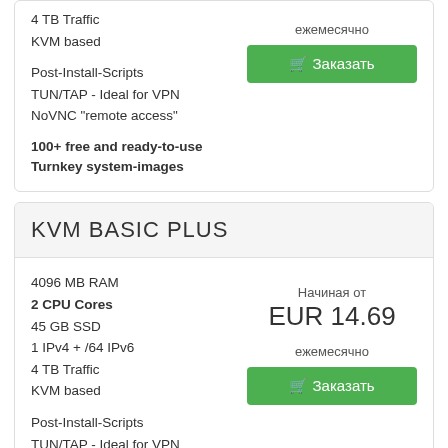4 TB Traffic
KVM based

Post-Install-Scripts
TUN/TAP - Ideal for VPN
NoVNC "remote access"

100+ free and ready-to-use Turnkey system-images
ежемесячно
Заказать
KVM BASIC PLUS
4096 MB RAM
2 CPU Cores
45 GB SSD
1 IPv4 + /64 IPv6
4 TB Traffic
KVM based
Начиная от
EUR 14.69
ежемесячно
Заказать
Post-Install-Scripts
TUN/TAP - Ideal for VPN
NoVNC "remote access"

100+ free and ready-to-use Turnkey system-images